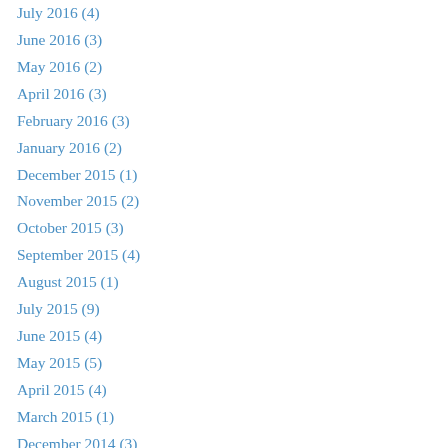July 2016 (4)
June 2016 (3)
May 2016 (2)
April 2016 (3)
February 2016 (3)
January 2016 (2)
December 2015 (1)
November 2015 (2)
October 2015 (3)
September 2015 (4)
August 2015 (1)
July 2015 (9)
June 2015 (4)
May 2015 (5)
April 2015 (4)
March 2015 (1)
December 2014 (3)
November 2014 (1)
October 2014 (3)